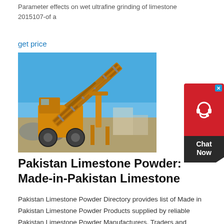Parameter effects on wet ultrafine grinding of limestone 2015107-of a
get price
[Figure (photo): Large yellow mobile mining/crushing machine with conveyor belt on a construction or mining site, against a blue sky.]
Pakistan Limestone Powder: Made-in-Pakistan Limestone
Pakistan Limestone Powder Directory provides list of Made in Pakistan Limestone Powder Products supplied by reliable Pakistan Limestone Powder Manufacturers, Traders and Companies. Products; Suppliers; Buyers; Don't know your target